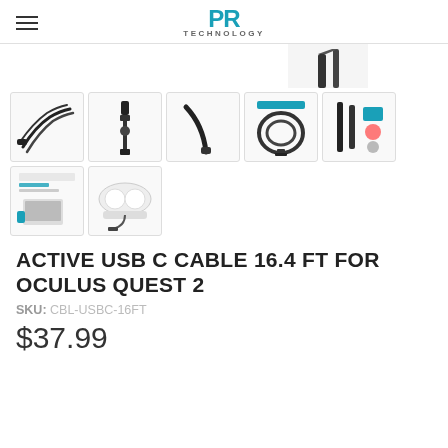PR TECHNOLOGY
[Figure (photo): Partial view of a product image (USB cable/adapter) cropped at top of page]
[Figure (photo): Thumbnail grid of 7 product images for Active USB C Cable: cables, connectors, coiled cable, laptop connection, VR headset]
ACTIVE USB C CABLE 16.4 FT FOR OCULUS QUEST 2
SKU: CBL-USBC-16FT
$37.99